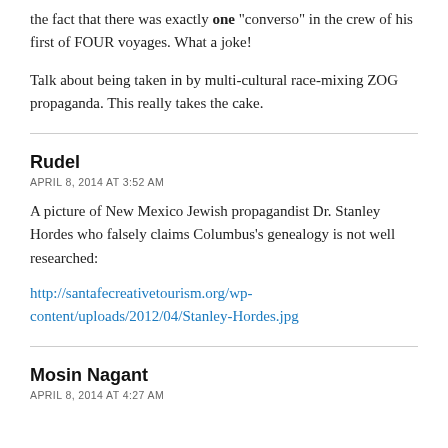the fact that there was exactly one "converso" in the crew of his first of FOUR voyages. What a joke!
Talk about being taken in by multi-cultural race-mixing ZOG propaganda. This really takes the cake.
Rudel
APRIL 8, 2014 AT 3:52 AM
A picture of New Mexico Jewish propagandist Dr. Stanley Hordes who falsely claims Columbus's genealogy is not well researched:
http://santafecreativetourism.org/wp-content/uploads/2012/04/Stanley-Hordes.jpg
Mosin Nagant
APRIL 8, 2014 AT 4:27 AM